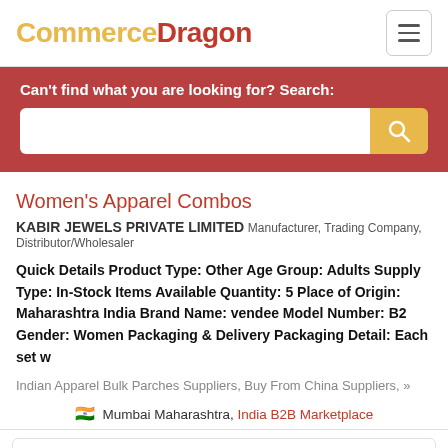CommerceDragon
Can't find what you are looking for? Search:
Women's Apparel Combos
KABIR JEWELS PRIVATE LIMITED Manufacturer, Trading Company, Distributor/Wholesaler
Quick Details Product Type: Other Age Group: Adults Supply Type: In-Stock Items Available Quantity: 5 Place of Origin: Maharashtra India Brand Name: vendee Model Number: B2 Gender: Women Packaging & Delivery Packaging Detail: Each set w
Indian Apparel Bulk Parches Suppliers, Buy From China Suppliers, »
🇮🇳 Mumbai Maharashtra, India B2B Marketplace
[Figure (illustration): Three graduation figures wearing academic gowns and mortarboard caps in blue, red/pink, and purple colors.]